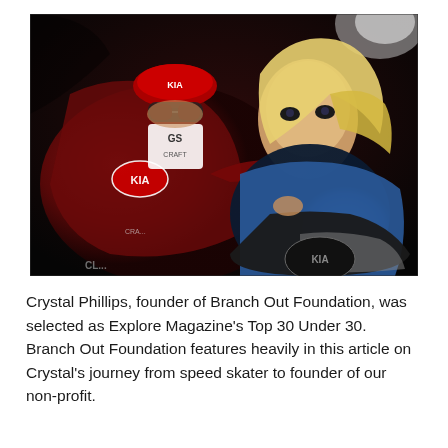[Figure (photo): Two speed skaters in racing suits. Left skater wears a red suit with KIA and GS logos, a red cap, and goggles. Right skater wears a blue top and has long blonde hair. Both are in racing postures against a dark background.]
Crystal Phillips, founder of Branch Out Foundation, was selected as Explore Magazine's Top 30 Under 30. Branch Out Foundation features heavily in this article on Crystal's journey from speed skater to founder of our non-profit.